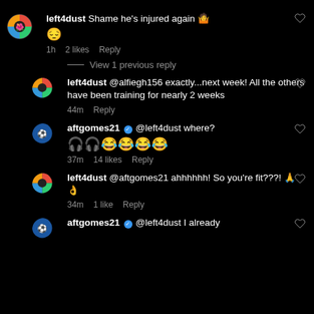left4dust Shame he's injured again 🤷 😔
1h  2 likes  Reply
View 1 previous reply
left4dust @alfiegh156 exactly...next week! All the others have been training for nearly 2 weeks
44m  Reply
aftgomes21 ✓ @left4dust where? 🎧🎧😂😂😂😂
37m  14 likes  Reply
left4dust @aftgomes21 ahhhhhh! So you're fit???! 🙏👌
34m  1 like  Reply
aftgomes21 ✓ @left4dust I already